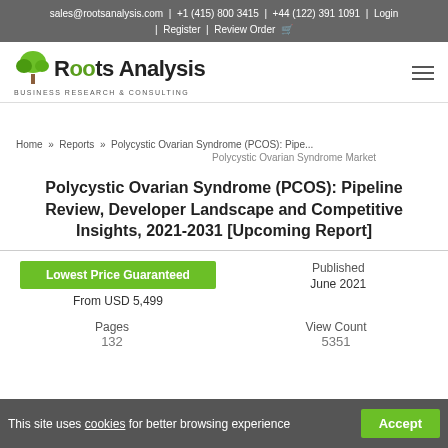sales@rootsanalysis.com | +1 (415) 800 3415 | +44 (122) 391 1091 | Login | Register | Review Order
[Figure (logo): Roots Analysis logo with tree icon and text 'BUSINESS RESEARCH & CONSULTING']
Home » Reports » Polycystic Ovarian Syndrome (PCOS): Pipe...
Polycystic Ovarian Syndrome Market
Polycystic Ovarian Syndrome (PCOS): Pipeline Review, Developer Landscape and Competitive Insights, 2021-2031 [Upcoming Report]
Lowest Price Guaranteed
From USD 5,499
Published
June 2021
Pages
132
View Count
5351
This site uses cookies for better browsing experience